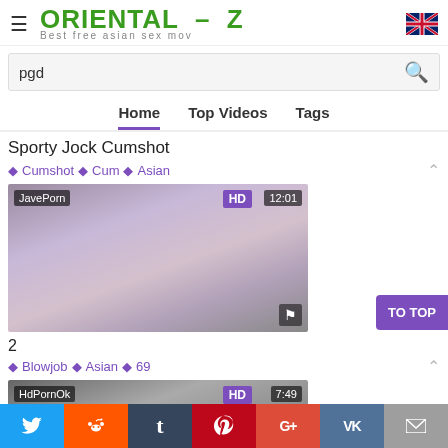ORIENTAL – Z | Best free asian sex mov
pgd
Home  Top Videos  Tags
Sporty Jock Cumshot
Cumshot  Cum  Asian
[Figure (photo): Video thumbnail with JavePorn source badge, HD badge, 12:01 duration, flag icon]
2
Blowjob  Asian  69
[Figure (photo): Video thumbnail with HdPornOk source badge, HD badge, 7:49 duration]
TO TOP
Twitter Reddit Tumblr Pinterest G+ VK Email social share bar